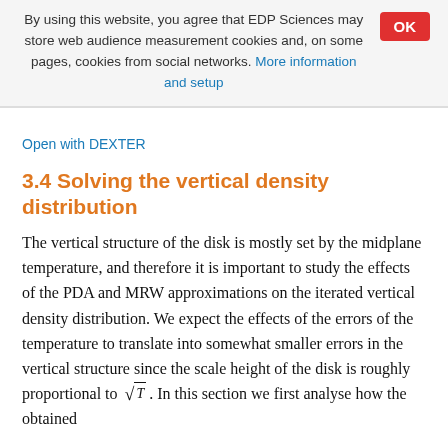By using this website, you agree that EDP Sciences may store web audience measurement cookies and, on some pages, cookies from social networks. More information and setup
Open with DEXTER
3.4 Solving the vertical density distribution
The vertical structure of the disk is mostly set by the midplane temperature, and therefore it is important to study the effects of the PDA and MRW approximations on the iterated vertical density distribution. We expect the effects of the errors of the temperature to translate into somewhat smaller errors in the vertical structure since the scale height of the disk is roughly proportional to √T. In this section we first analyse how the obtained